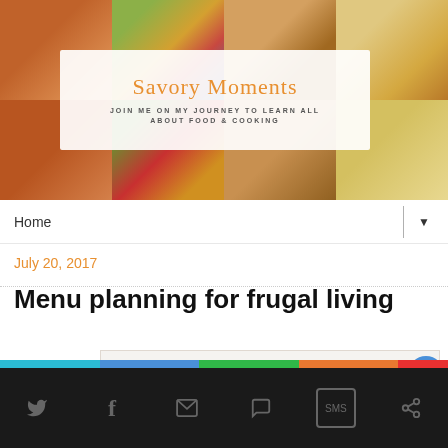[Figure (photo): Blog header banner with collage of food photos including pumpkin pie, pasta salad, cookies, and chips/crackers]
Savory Moments
JOIN ME ON MY JOURNEY TO LEARN ALL ABOUT FOOD & COOKING
Home
July 20, 2017
Menu planning for frugal living
[Figure (photo): Whiteboard or tray with handwritten pink/magenta text reading 'Groceries' and 'Menu' separated by a vertical line with horizontal line below]
Social share toolbar with Twitter, Facebook, Email, WhatsApp, SMS, and Share icons